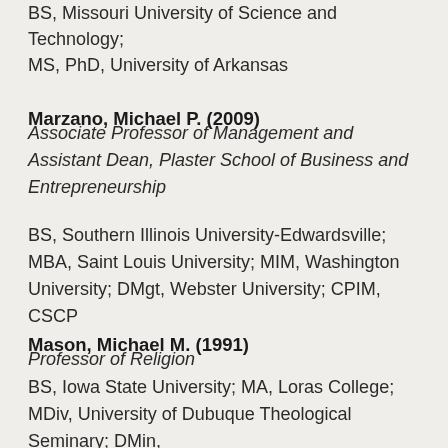BS, Missouri University of Science and Technology; MS, PhD, University of Arkansas
Marzano, Michael P. (2009)
Associate Professor of Management and Assistant Dean, Plaster School of Business and Entrepreneurship
BS, Southern Illinois University-Edwardsville; MBA, Saint Louis University; MIM, Washington University; DMgt, Webster University; CPIM, CSCP
Mason, Michael M. (1991)
Professor of Religion
BS, Iowa State University; MA, Loras College; MDiv, University of Dubuque Theological Seminary; DMin, San Francisco Theological Seminary